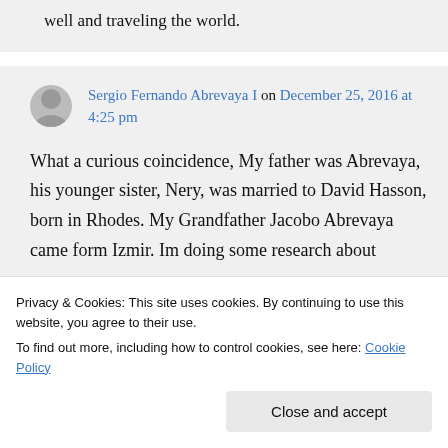well and traveling the world.
Sergio Fernando Abrevaya I on December 25, 2016 at 4:25 pm
What a curious coincidence, My father was Abrevaya, his younger sister, Nery, was married to David Hasson, born in Rhodes. My Grandfather Jacobo Abrevaya came form Izmir. Im doing some research about and Neri Abrevaya.
Privacy & Cookies: This site uses cookies. By continuing to use this website, you agree to their use.
To find out more, including how to control cookies, see here: Cookie Policy
Close and accept